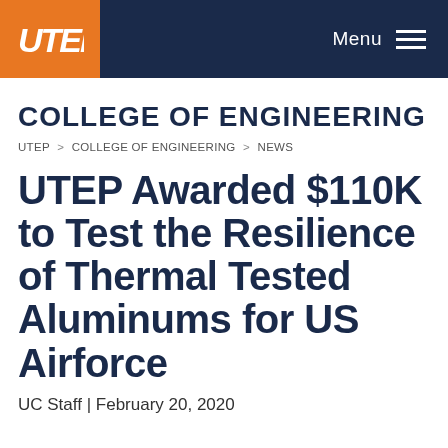UTEP | Menu
COLLEGE OF ENGINEERING
UTEP > COLLEGE OF ENGINEERING > NEWS
UTEP Awarded $110K to Test the Resilience of Thermal Tested Aluminums for US Airforce
UC Staff | February 20, 2020